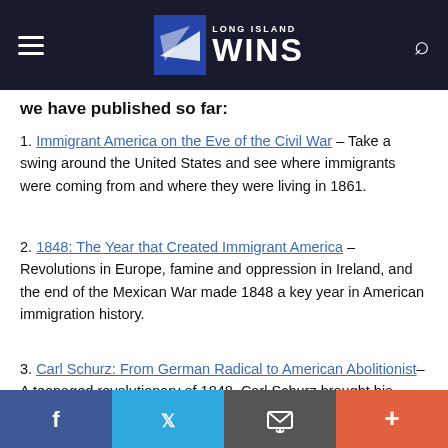Long Island Wins
we have published so far:
1. Immigrant America on the Eve of the Civil War – Take a swing around the United States and see where immigrants were coming from and where they were living in 1861.
2. 1848: The Year that Created Immigrant America – Revolutions in Europe, famine and oppression in Ireland, and the end of the Mexican War made 1848 a key year in American immigration history.
3. Carl Schurz: From German Radical to American Abolitionist– A teenaged revolutionary of 1848, Carl Schurz brought his
Facebook  Twitter  Email  More